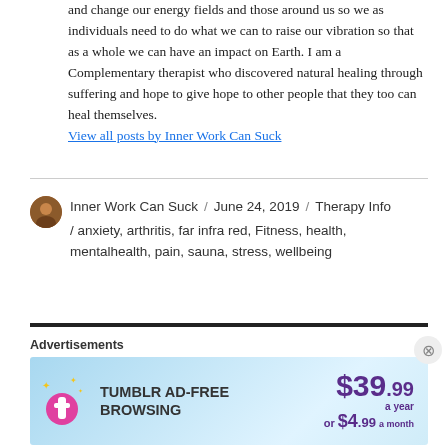and change our energy fields and those around us so we as individuals need to do what we can to raise our vibration so that as a whole we can have an impact on Earth. I am a Complementary therapist who discovered natural healing through suffering and hope to give hope to other people that they too can heal themselves.
View all posts by Inner Work Can Suck
Inner Work Can Suck / June 24, 2019 / Therapy Info / anxiety, arthritis, far infra red, Fitness, health, mentalhealth, pain, sauna, stress, wellbeing
[Figure (other): Tumblr Ad-Free Browsing advertisement banner: $39.99 a year or $4.99 a month]
Advertisements